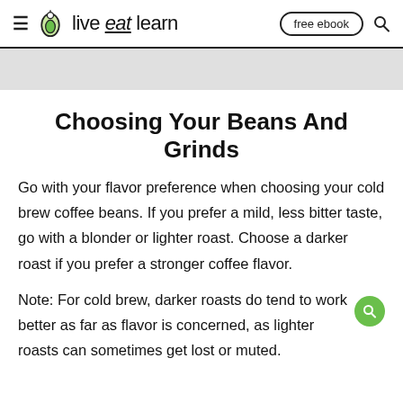live eat learn — free ebook
Choosing Your Beans And Grinds
Go with your flavor preference when choosing your cold brew coffee beans. If you prefer a mild, less bitter taste, go with a blonder or lighter roast. Choose a darker roast if you prefer a stronger coffee flavor.
Note: For cold brew, darker roasts do tend to work better as far as flavor is concerned, as lighter roasts can sometimes get lost or muted.